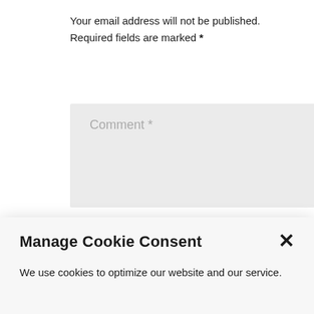Your email address will not be published. Required fields are marked *
[Figure (screenshot): Comment text input field with placeholder text 'Comment *' on a light gray background]
Manage Cookie Consent
We use cookies to optimize our website and our service.
Accept
Deny
Preferences
Cookie Policy   Privacy Policy